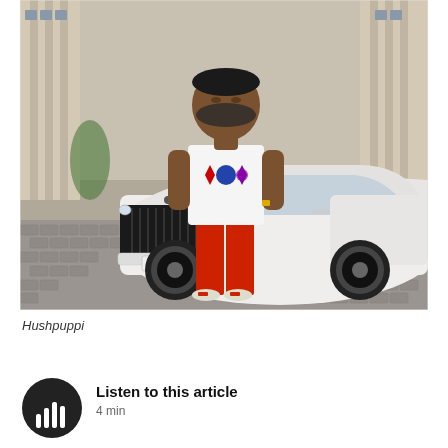[Figure (photo): A man (Hushpuppi) wearing a white Louis Vuitton t-shirt and red pants, standing in front of a white Rolls-Royce car with a black grille and a Dubai license plate reading 9735, in a paved outdoor area with a building in the background.]
Hushpuppi
[Figure (other): Audio player icon — dark circular button with sound wave bars inside, representing a listen-to-article audio widget.]
Listen to this article